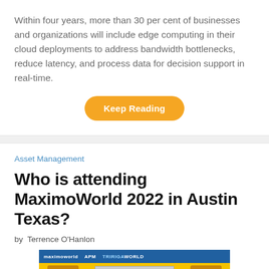Within four years, more than 30 per cent of businesses and organizations will include edge computing in their cloud deployments to address bandwidth bottlenecks, reduce latency, and process data for decision support in real-time.
[Figure (other): Orange rounded button with white bold text reading 'Keep Reading']
Asset Management
Who is attending MaximoWorld 2022 in Austin Texas?
by Terrence O'Hanlon
[Figure (photo): MaximoWorld 2022 event banner with blue header bar showing logos for maximoworld, APM, and TRIRIGAWORLD, and yellow background with comic-style illustrated figures of people.]